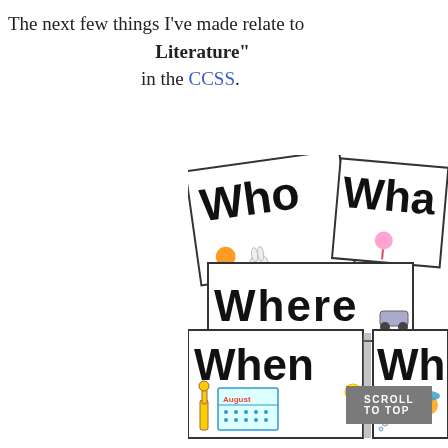The next few things I've made relate to Literature" in the CCSS.
[Figure (illustration): Overlapping educational cards showing the words Who, What, Where, When, Wh... with cartoon illustrations on each card]
SCROLL TO TOP